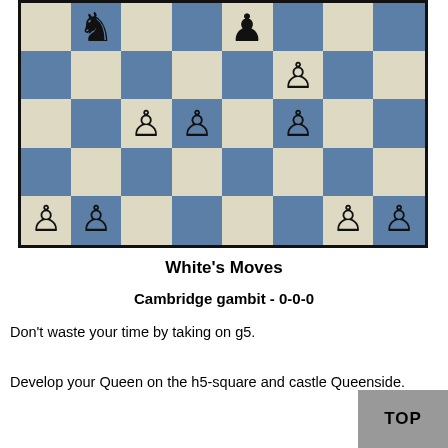[Figure (other): Chess board diagram showing partial position. Black knight on b8, black pawn on e8 area (row1), white pawn on f7 area (row2), white pawns on c5, d5, f5 (row3), white pawns on a3, b3, g3, h3 (row5). Blue and cream checkerboard.]
White's Moves
Cambridge gambit - 0-0-0
Don't waste your time by taking on g5.
Develop your Queen on the h5-square and castle Queenside.